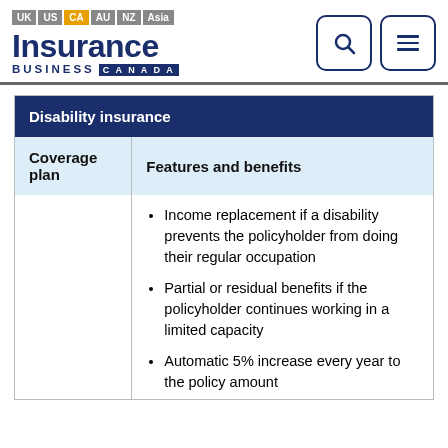UK US CA AU NZ Asia — Insurance Business Canada
| Coverage plan | Features and benefits |
| --- | --- |
|  | Income replacement if a disability prevents the policyholder from doing their regular occupation |
|  | Partial or residual benefits if the policyholder continues working in a limited capacity |
|  | Automatic 5% increase every year to the policy amount |